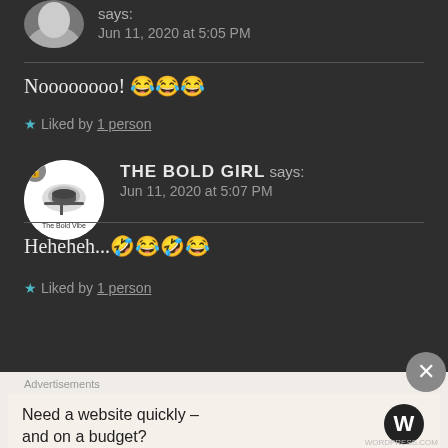says: Jun 11, 2020 at 5:05 PM
Noooooooo! 😂😂😂
★ Liked by 1 person
THE BOLD GIRL says: Jun 11, 2020 at 5:07 PM
Heheheh...🤣😂🤣😂
★ Liked by 1 person
Advertisements
Need a website quickly – and on a budget?